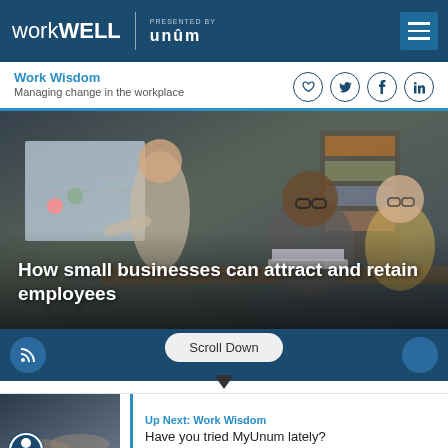workWELL presented by Unum
Work Wisdom
Managing change in the workplace
[Figure (photo): Office scene with three people in a meeting: one man pointing at a whiteboard with charts, one man with glasses smiling and using a laptop, one woman with glasses seated in background]
How small businesses can attract and retain employees
Scroll Down
[Figure (photo): Thumbnail of people collaborating at a table, with accessibility icon badge overlay]
Up Next: Work Wisdom
Have you tried MyUnum lately?